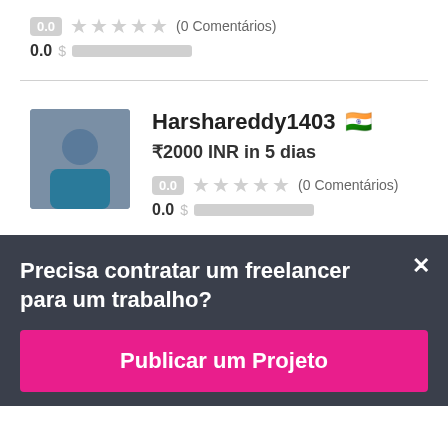0.0 ★★★★★ (0 Comentários)
0.0 $ ██████████
Harshareddy1403 🇮🇳
₹2000 INR in 5 dias
0.0 ★★★★★ (0 Comentários)
0.0 $ ██████████
Precisa contratar um freelancer para um trabalho?
Publicar um Projeto